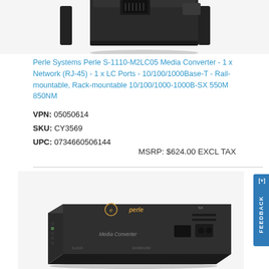[Figure (photo): Partial/cropped top view of a Perle Systems media converter device (black hardware), showing the top portion of the unit cut off at the top edge of the page]
Perle Systems Perle S-1110-M2LC05 Media Converter - 1 x Network (RJ-45) - 1 x LC Ports - 10/100/1000Base-T - Rail-mountable, Rack-mountable 10/100/1000-1000B-SX 550M 850NM
VPN: 05050614
SKU: CY3569
UPC: 0734660506144
MSRP: $624.00 EXCL TAX
[Figure (photo): Perle Systems media converter device (black box) shown from an angle, displaying the front and top faces. The device has the Perle logo (circular 'e' symbol) and brand name in gold/orange on the top, 'Media Converter' text on the front panel, along with various ports and indicator LEDs.]